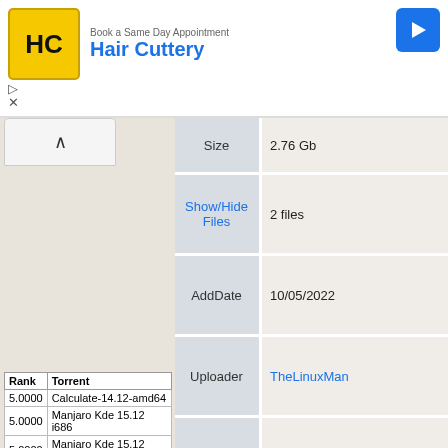[Figure (other): Hair Cuttery advertisement banner with logo and arrow button]
| Row label | Value |
| --- | --- |
| Size | 2.76 Gb |
| Show/Hide Files | 2 files |
| AddDate | 10/05/2022 |
| Uploader | TheLinuxMan |
| Speed | 0 KB/sec |
| Down | 44 times |
| peers | seeds: 64, leechers: 1 = 65 p |
| Report |  |
| Name | Fedora KDE Live 35 32/64b
Fedora KDE Live 36 aarch |
Top 10 Torrents
| Rank | Torrent |
| --- | --- |
| 5.0000 | Calculate-14.12-amd64 |
| 5.0000 | Manjaro Kde 15.12 i686 |
| 5.0000 | Manjaro Kde 15.12 x86_64 |
| 5.0000 | Manjaro Kde 15.12 x86_64 |